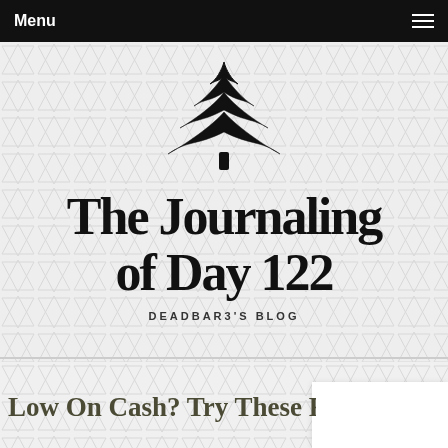Menu
[Figure (logo): Blog logo with hand-drawn pine tree illustration above hand-lettered text reading 'The Journaling of Day 122' with subtitle 'DEADBAR3'S BLOG' on a triangle-pattern grey background]
Low On Cash? Try These F...